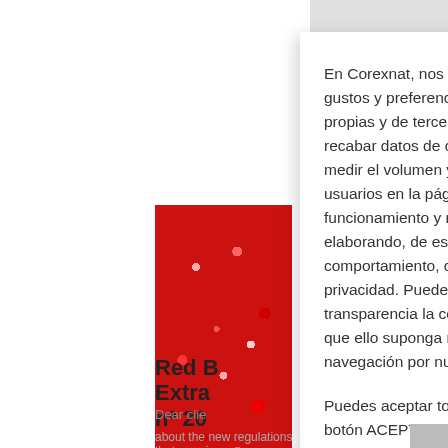[Figure (photo): Close-up photo of red berries/peppercorns, cropped on the left side of the page]
Red B... Extra... nº 20
Dear clie...
about the new regulations that are given...
En Corexnat, nos tomamos muy en serio tus gustos y preferencias, para ello usamos cookies propias y de terceros, que nos ayudan a recabar datos de conexión, cuya finalidad es medir el volumen y la interacción de los usuarios en la página web, mejorando el funcionamiento y nuestros contenidos, elaborando, de este modo, perfiles de comportamiento, cuidando siempre de tu privacidad. Puedes elegir con total transparencia la configuración que prefieras, sin que ello suponga ningún cambio en tu navegación por nuestra web.
Puedes aceptar todas las Cookies pulsando el botón ACEPTAR TODAS o puedes configurarlas o rechazarlas.